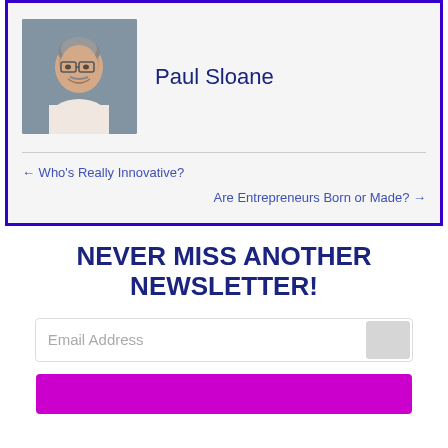[Figure (photo): Headshot photo of Paul Sloane, a middle-aged man with glasses and grey hair, smiling, wearing a light shirt]
Paul Sloane
← Who's Really Innovative?
Are Entrepreneurs Born or Made? →
NEVER MISS ANOTHER NEWSLETTER!
Email Address